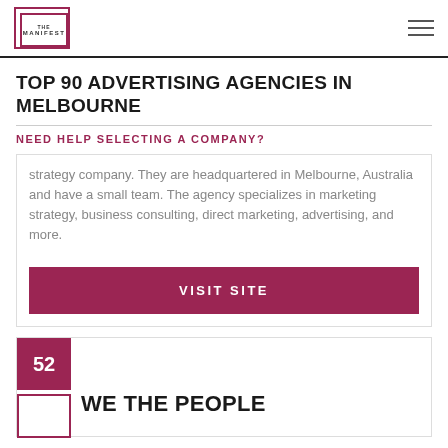THE MANIFEST
TOP 90 ADVERTISING AGENCIES IN MELBOURNE
NEED HELP SELECTING A COMPANY?
strategy company. They are headquartered in Melbourne, Australia and have a small team. The agency specializes in marketing strategy, business consulting, direct marketing, advertising, and more.
VISIT SITE
52
WE THE PEOPLE